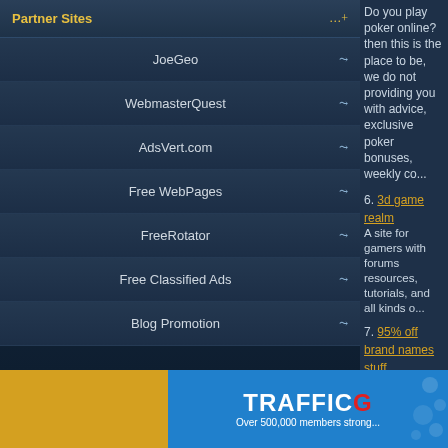Partner Sites
JoeGeo
WebmasterQuest
AdsVert.com
Free WebPages
FreeRotator
Free Classified Ads
Blog Promotion
Do you play poker online? then this is the place to be, we do not providing you with advice, exclusive poker bonuses, weekly co...
6. 3d game realm - A site for gamers with forums resources, tutorials, and all kinds o...
7. 95% off brand names stuff - Get cool stuff like apple ipads, computers etc 95% off retail pric...
8. A remote control blimp? - Show your american spirit and pilot the airship america radio co... powerful micro motor jet thrusters that allow you to climb and d...
9. Ac gamers - Blog saya ac gamers, merupakan blog khusus anak muda penggi... sarana diskusi untuk para gamers indonesia. salam gamers
10. Accessoriesnano - Cheap deals on ipods,cheap nano ipods,nano accessories,fluttero...
Previous Pag...
Join...
[Figure (logo): TRAFFICG logo with red G on blue background, with dots pattern]